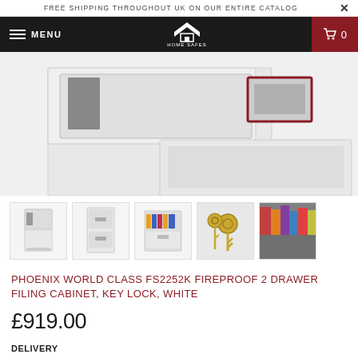FREE SHIPPING THROUGHOUT UK ON OUR ENTIRE CATALOG
[Figure (screenshot): Navigation bar with hamburger menu (MENU), Home Safes logo, and shopping cart icon with 0 count on dark background]
[Figure (photo): Main product photo of Phoenix World Class FS2252K Fireproof 2 Drawer Filing Cabinet in white, showing top portion with open drawers]
[Figure (photo): Row of 5 product thumbnail images: filing cabinet front view with open drawer, filing cabinet closed view, cabinet with files inside, close-up of key lock, close-up of files in drawer]
PHOENIX WORLD CLASS FS2252K FIREPROOF 2 DRAWER FILING CABINET, KEY LOCK, WHITE
£919.00
DELIVERY